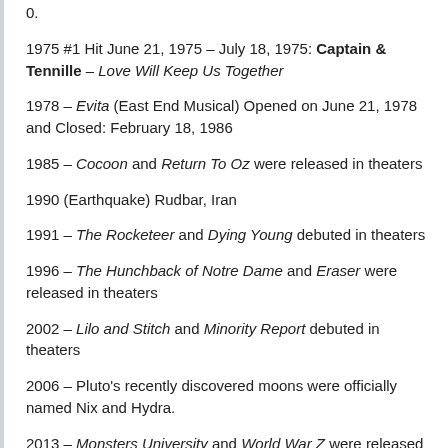0.
1975 #1 Hit June 21, 1975 – July 18, 1975: Captain & Tennille – Love Will Keep Us Together
1978 – Evita (East End Musical) Opened on June 21, 1978 and Closed: February 18, 1986
1985 – Cocoon and Return To Oz were released in theaters
1990 (Earthquake) Rudbar, Iran
1991 – The Rocketeer and Dying Young debuted in theaters
1996 – The Hunchback of Notre Dame and Eraser were released in theaters
2002 – Lilo and Stitch and Minority Report debuted in theaters
2006 – Pluto's recently discovered moons were officially named Nix and Hydra.
2013 – Monsters University and World War Z were released in theaters